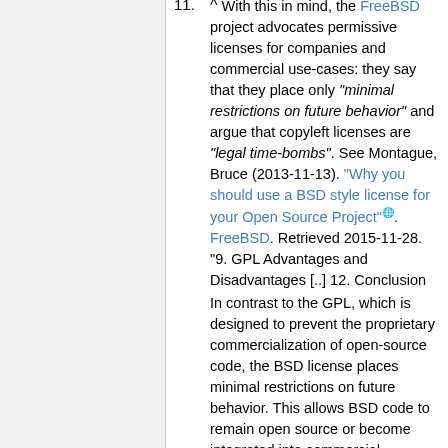^ With this in mind, the FreeBSD project advocates permissive licenses for companies and commercial use-cases: they say that they place only "minimal restrictions on future behavior" and argue that copyleft licenses are "legal time-bombs". See Montague, Bruce (2013-11-13). "Why you should use a BSD style license for your Open Source Project". FreeBSD. Retrieved 2015-11-28. "9. GPL Advantages and Disadvantages [..] 12. Conclusion In contrast to the GPL, which is designed to prevent the proprietary commercialization of open-source code, the BSD license places minimal restrictions on future behavior. This allows BSD code to remain open source or become integrated into commercial solutions, as a project's or